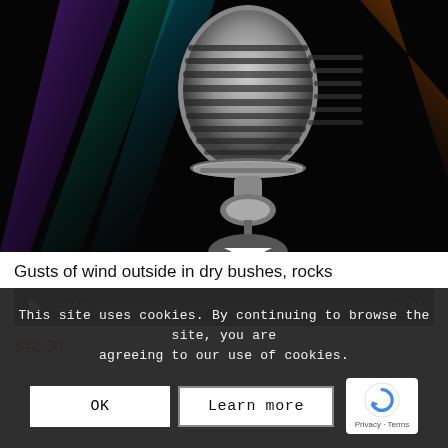[Figure (photo): A silver vintage microphone against a dark background with colorful light streaks (purple, green, teal, orange) radiating from the top.]
Gusts of wind outside in dry bushes, rocks
[Figure (other): Audio player bar showing play button, time 00:00, progress bar, and end time 01:40 on dark background.]
€12,00
This site uses cookies. By continuing to browse the site, you are agreeing to our use of cookies.
OK
Learn more
[Figure (logo): reCAPTCHA logo with Privacy - Terms text below it.]